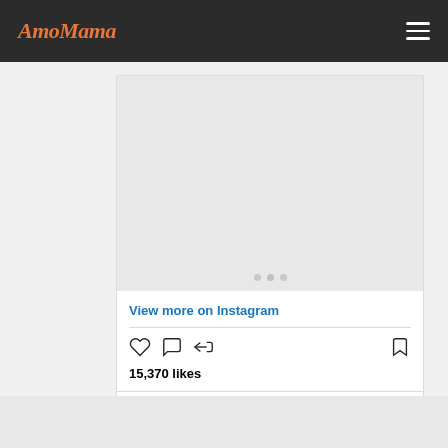AmoMama
[Figure (screenshot): Instagram embed card with image carousel placeholder (grey area) and three pagination dots, showing 'View more on Instagram' link, action icons (heart, comment, share, bookmark), and 15,370 likes count]
View more on Instagram
15,370 likes